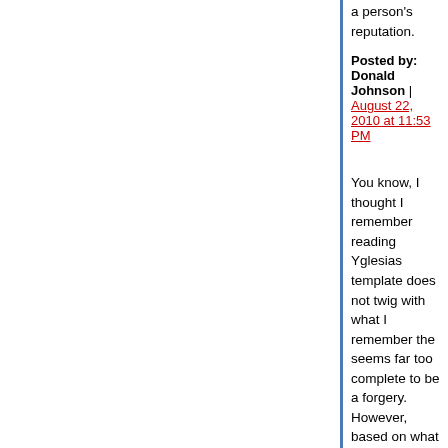a person's reputation.
Posted by: Donald Johnson | August 22, 2010 at 11:53 PM
You know, I thought I remember reading Yglesias template does not twig with what I remember the seems far too complete to be a forgery. However, based on what they said and wrote as undergrad be anyone left to do anything.
Posted by: liberal japonicus | August 23, 2010 at 01:29 AM
To use that old quote: "It was worse than a crime; That esp. on the part of Rumsfeld. If the world wa (and Chain-Eye would be very slowly boiled in cru Even if they themselves believed 99% of their ow would not change anything.
Should Obama authorize (or tolerate) an Israeli a same category. Given that to my knowledge the U targeting Iran, he might be already in the camp of
Posted by: Hartmut | August 23, 2010 at 05:11 AM